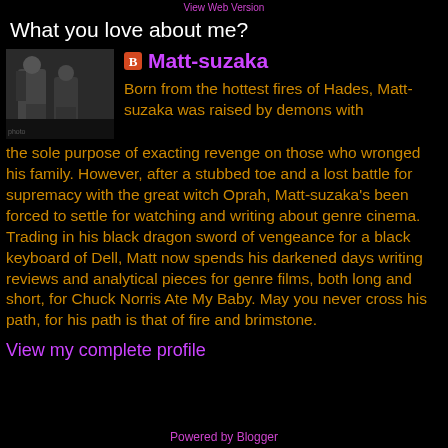What you love about me?
[Figure (photo): Black and white photo of two people in dark clothing]
Matt-suzaka
Born from the hottest fires of Hades, Matt-suzaka was raised by demons with the sole purpose of exacting revenge on those who wronged his family. However, after a stubbed toe and a lost battle for supremacy with the great witch Oprah, Matt-suzaka's been forced to settle for watching and writing about genre cinema. Trading in his black dragon sword of vengeance for a black keyboard of Dell, Matt now spends his darkened days writing reviews and analytical pieces for genre films, both long and short, for Chuck Norris Ate My Baby. May you never cross his path, for his path is that of fire and brimstone.
View my complete profile
Powered by Blogger